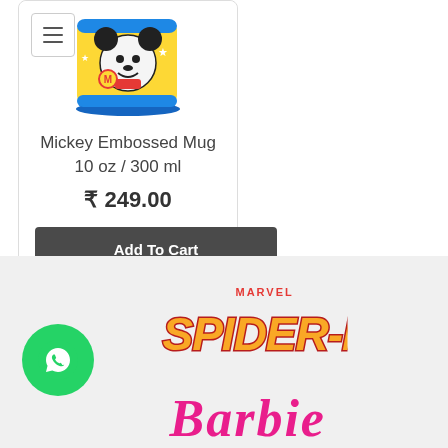[Figure (photo): Mickey Mouse embossed ceramic mug with colorful design]
Mickey Embossed Mug 10 oz / 300 ml
₹ 249.00
Add To Cart
[Figure (logo): Marvel Spider-Man logo in yellow and red]
[Figure (logo): Barbie logo in pink]